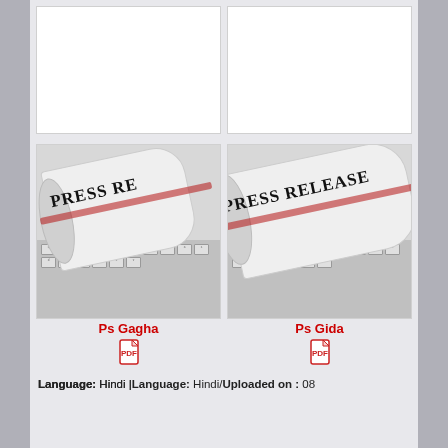[Figure (screenshot): Screenshot of a document listing website showing a grid of press release documents. Top row shows two empty white card placeholders. Second row shows two cards each with a 'PRESS RELEASE' rolled newspaper image on keyboard, titles 'Ps Gagha' and 'Ps Gida' in red, PDF icons, and language info 'Language: Hindi'. A third partial card is visible at the right edge. Below the cards: 'Language: Hindi | Language: Hindi | Uploaded on : 08']
Ps Gagha
Ps Gida
Language: Hindi
Language: Hindi | Uploaded on : 08